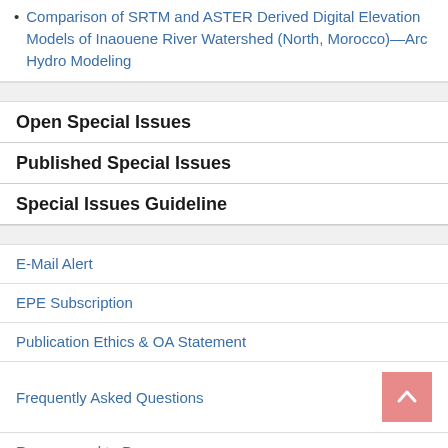Comparison of SRTM and ASTER Derived Digital Elevation Models of Inaouene River Watershed (North, Morocco)—Arc Hydro Modeling
Open Special Issues
Published Special Issues
Special Issues Guideline
E-Mail Alert
EPE Subscription
Publication Ethics & OA Statement
Frequently Asked Questions
Recommend to Peers
Recommend to Library